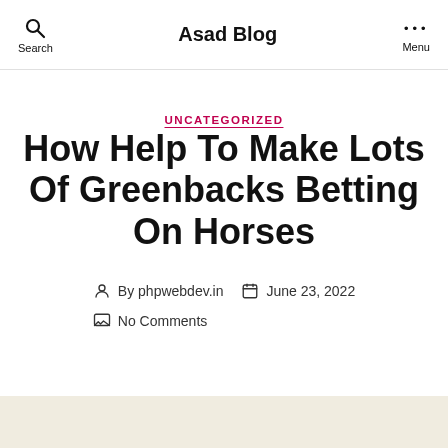Asad Blog
UNCATEGORIZED
How Help To Make Lots Of Greenbacks Betting On Horses
By phpwebdev.in   June 23, 2022   No Comments